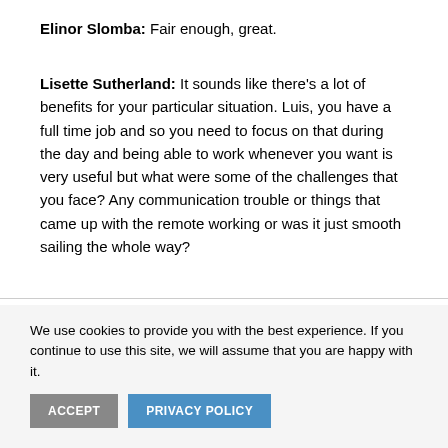Elinor Slomba: Fair enough, great.
Lisette Sutherland: It sounds like there’s a lot of benefits for your particular situation. Luis, you have a full time job and so you need to focus on that during the day and being able to work whenever you want is very useful but what were some of the challenges that you face? Any communication trouble or things that came up with the remote working or was it just smooth sailing the whole way?
We use cookies to provide you with the best experience. If you continue to use this site, we will assume that you are happy with it.
ACCEPT
PRIVACY POLICY